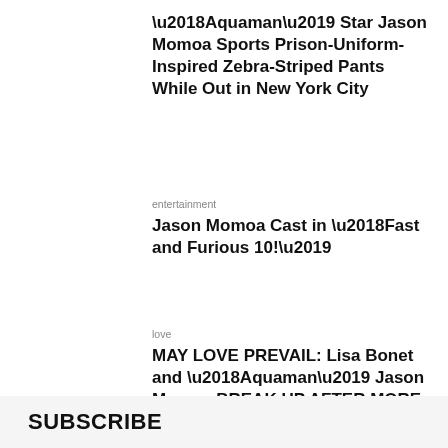‘Aquaman’ Star Jason Momoa Sports Prison-Uniform-Inspired Zebra-Striped Pants While Out in New York City
entertainment
Jason Momoa Cast in ‘Fast and Furious 10!’
love
MAY LOVE PREVAIL: Lisa Bonet and ‘Aquaman’ Jason Momoa BREAK UP AFTER MORE THAN SIXTEEN YEARS!
SUBSCRIBE